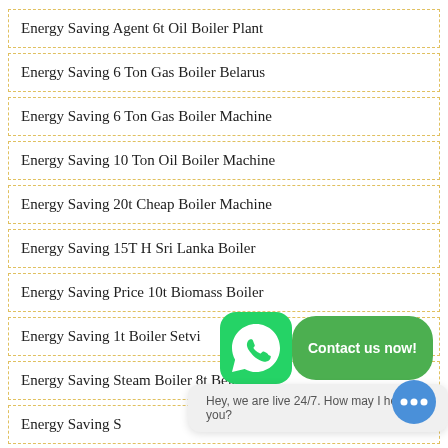Energy Saving Agent 6t Oil Boiler Plant
Energy Saving 6 Ton Gas Boiler Belarus
Energy Saving 6 Ton Gas Boiler Machine
Energy Saving 10 Ton Oil Boiler Machine
Energy Saving 20t Cheap Boiler Machine
Energy Saving 15T H Sri Lanka Boiler
Energy Saving Price 10t Biomass Boiler
Energy Saving 1t Boiler Se...tvi...
Energy Saving Steam Boiler 8t Belarus
Energy Saving S... Boiler ...
Energy Saving 6t Oil Boiler Plant Latvia